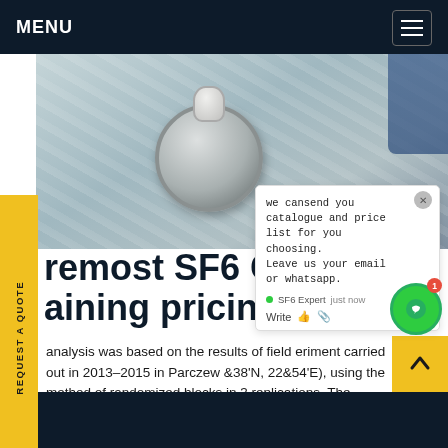MENU
[Figure (photo): Photo of SF6 gas equipment - metallic circular disk on white plastic sheeting with a person in blue clothing visible, and red/orange text 'ina' in corner]
REQUEST A QUOTE
we cansend you catalogue and price list for you choosing. Leave us your email or whatsapp.
remost SF6 Gazl ... aining pricing
analysis was based on the results of field eriment carried out in 2013-2015 in Parczew &38'N, 22&54'E), using the method of randomized blocks in 3 replications. The research factor were herbicides: A – Dispersive Afalon 450 SC 450 S.C
Get price